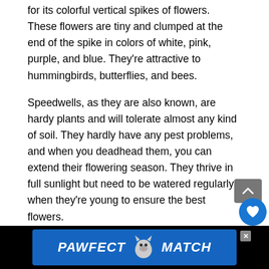for its colorful vertical spikes of flowers. These flowers are tiny and clumped at the end of the spike in colors of white, pink, purple, and blue. They're attractive to hummingbirds, butterflies, and bees.
Speedwells, as they are also known, are hardy plants and will tolerate almost any kind of soil. They hardly have any pest problems, and when you deadhead them, you can extend their flowering season. They thrive in full sunlight but need to be watered regularly when they're young to ensure the best flowers.
[Figure (other): Advertisement banner: PAWFECT MATCH with cat graphic on dark blue background]